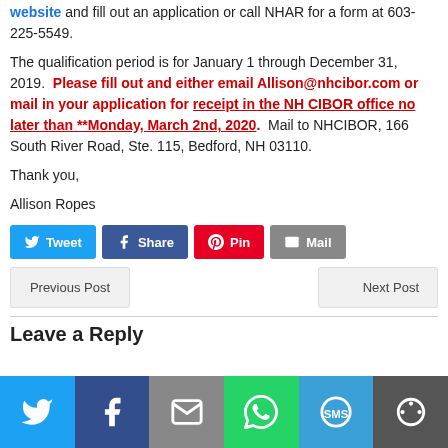website and fill out an application or call NHAR for a form at 603-225-5549.
The qualification period is for January 1 through December 31, 2019. Please fill out and either email Allison@nhcibor.com or mail in your application for receipt in the NH CIBOR office no later than **Monday, March 2nd, 2020. Mail to NHCIBOR, 166 South River Road, Ste. 115, Bedford, NH 03110.
Thank you,
Allison Ropes
[Figure (other): Social share buttons: Tweet, Share, Pin, Mail]
[Figure (other): Navigation buttons: Previous Post, Next Post]
Leave a Reply
[Figure (other): Bottom social share bar: Twitter, Facebook, Mail, WhatsApp, SMS, More]